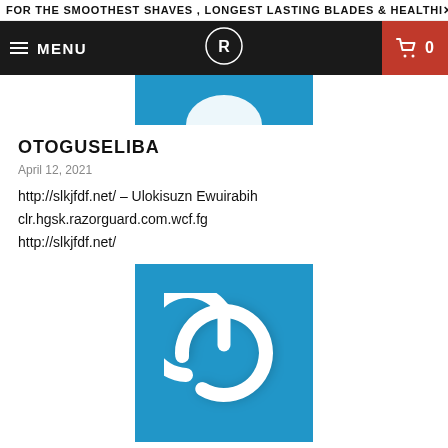FOR THE SMOOTHEST SHAVES , LONGEST LASTING BLADES & HEALTHIER
[Figure (screenshot): Navigation bar with hamburger menu (MENU), razor brand logo in center, and red cart icon with '0' on the right]
[Figure (photo): Partial blue image at the top of the post (cropped)]
OTOGUSELIBA
April 12, 2021
http://slkjfdf.net/ – Ulokisuzn Ewuirabih clr.hgsk.razorguard.com.wcf.fg http://slkjfdf.net/
[Figure (illustration): Blue square with a white power button icon (circle with a line at top)]